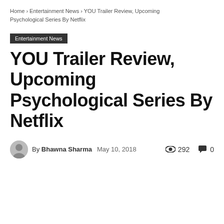Home › Entertainment News › YOU Trailer Review, Upcoming Psychological Series By Netflix
Entertainment News
YOU Trailer Review, Upcoming Psychological Series By Netflix
By Bhawna Sharma  May 10, 2018  292  0